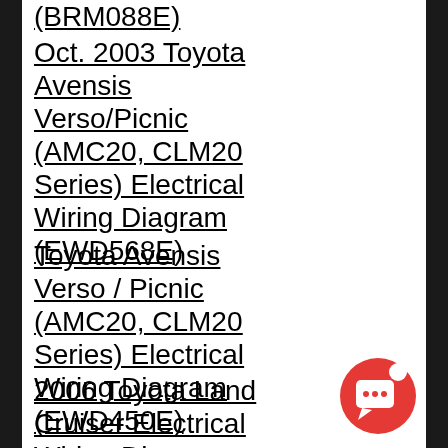(BRM088E)
Oct. 2003 Toyota Avensis Verso/Picnic (AMC20, CLM20 Series) Electrical Wiring Diagram (EWD568E)
Toyota Avensis Verso / Picnic (AMC20, CLM20 Series) Electrical Wiring Diagram (EWD450E)
2006 Toyota Land Cruiser Electrical Wiring Diagram (FM0019U)